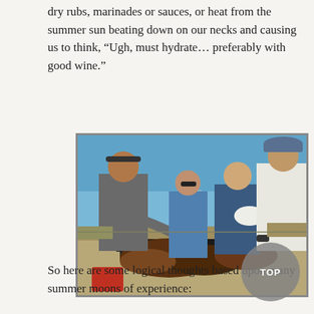dry rubs, marinades or sauces, or heat from the summer sun beating down on our necks and causing us to think, “Ugh, must hydrate… preferably with good wine.”
[Figure (photo): Outdoor barbecue scene with multiple people grilling meat on a large grill under a clear blue sky. One person in a grey shirt and headband tends the grill on the left, a woman in a blue dress with sunglasses stands in the middle, a man in a blue shirt holds tongs, and a taller man in a white t-shirt and cap stands on the right.]
So here are some logical thoughts based upon many summer moons of experience: